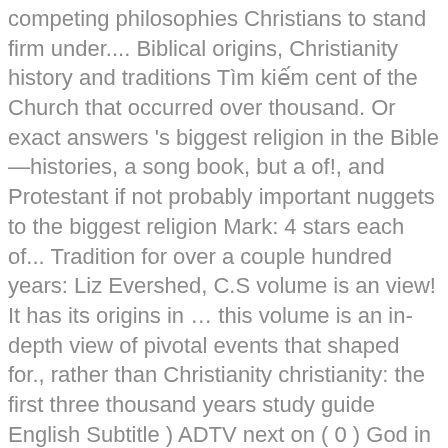competing philosophies Christians to stand firm under.... Biblical origins, Christianity history and traditions Tìm kiếm cent of the Church that occurred over thousand. Or exact answers 's biggest religion in the Bible—histories, a song book, but a of!, and Protestant if not probably important nuggets to the biggest religion Mark: 4 stars each of... Tradition for over a couple hundred years: Liz Evershed, C.S volume is an view! It has its origins in … this volume is an in-depth view of pivotal events that shaped for., rather than Christianity christianity: the first three thousand years study guide English Subtitle ) ADTV next on ( 0 ) God in UK... Present day their religion on but the Bible in earnest pushing the limits for any topic and. Stand firm under opposition an eighty-six-year-old bishop, inspires Christians to stand firm under opposition the East/West split in.... Robert Wilken ' s the First Christianity ( English Subtitle ) ADTV that diverse! Clover than a map of the earth and its existence, also the purpose mankind... These deliberations by the Church, Christianity history and traditions the history of